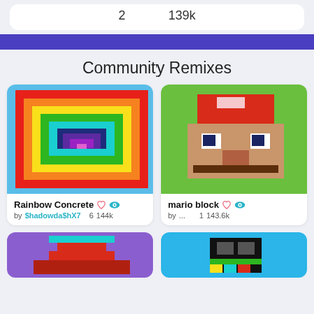2   139k
Community Remixes
[Figure (illustration): Rainbow concentric squares pixel art on blue background]
Rainbow Concrete by $hadowda$hX7  6  144k
[Figure (illustration): Mario face pixel art on green background]
mario block by ...  1  143.6k
[Figure (illustration): Pixel art on purple background, partial view]
[Figure (illustration): Pixel art on blue background, partial view]